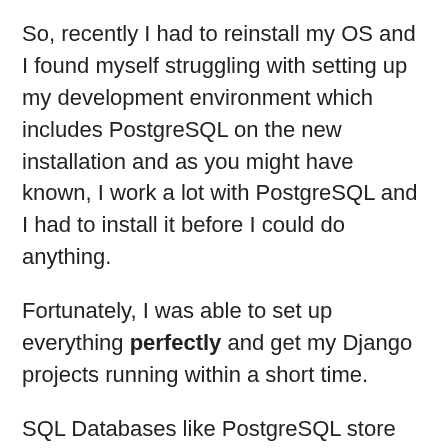So, recently I had to reinstall my OS and I found myself struggling with setting up my development environment which includes PostgreSQL on the new installation and as you might have known, I work a lot with PostgreSQL and I had to install it before I could do anything.
Fortunately, I was able to set up everything perfectly and get my Django projects running within a short time.
SQL Databases like PostgreSQL store data in tables which are different items in an application. Tables have a fixed number of columns and a